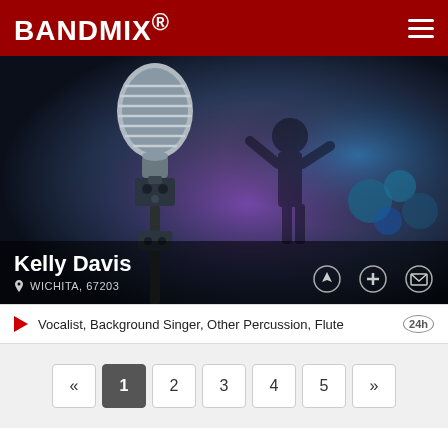BANDMIX®
[Figure (photo): Concert photo showing a vintage microphone in foreground and silhouetted performer on stage with blue/purple stage lighting and drum kit in background]
Kelly Davis
WICHITA, 67203
Vocalist, Background Singer, Other Percussion, Flute
« 1 2 3 4 5 »
BandMix.com connects Kansas